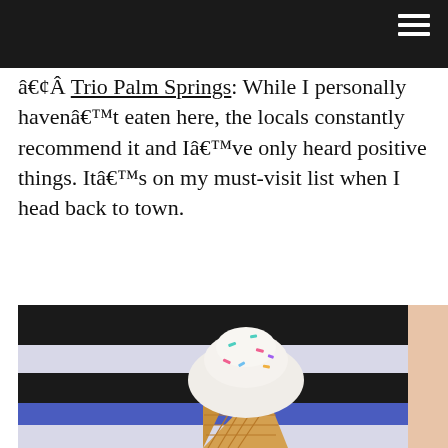â€¢Â Trio Palm Springs: While I personally havenâ€™t eaten here, the locals constantly recommend it and Iâ€™ve only heard positive things. Itâ€™s on my must-visit list when I head back to town.
[Figure (photo): Close-up photo of an ice cream cone with white frosting and colorful sprinkles, held by a person wearing a black and white striped outfit with a blue stripe.]